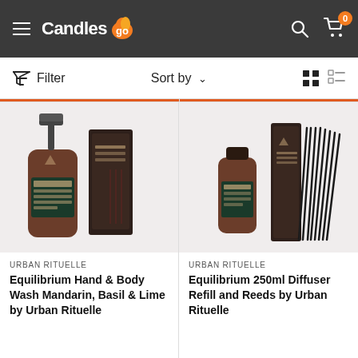Candles2go - header navigation with menu, search, and cart (0 items)
Filter   Sort by   [grid view] [list view]
[Figure (photo): Equilibrium Hand & Body Wash Mandarin Basil & Lime product bottle with pump and dark box packaging by Urban Rituelle]
URBAN RITUELLE
Equilibrium Hand & Body Wash Mandarin, Basil & Lime by Urban Rituelle
[Figure (photo): Equilibrium 250ml Diffuser Refill and Reeds product bottle with dark box and black reed sticks by Urban Rituelle]
URBAN RITUELLE
Equilibrium 250ml Diffuser Refill and Reeds by Urban Rituelle